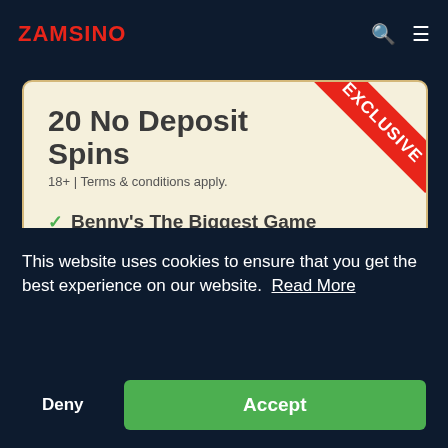ZAMSINO
20 No Deposit Spins
18+ | Terms & conditions apply.
Benny's The Biggest Game
Code: LUCKYGAME20
100% up to $100
20 No Deposit Spins
18+ | Terms & conditions apply.
This website uses cookies to ensure that you get the best experience on our website. Read More
Deny
Accept